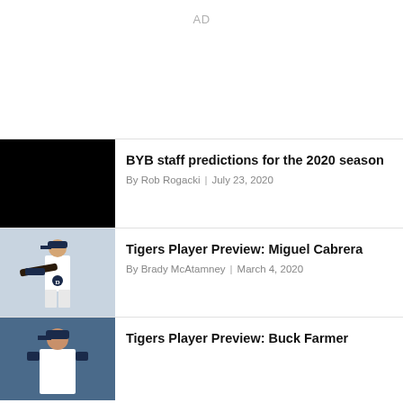AD
BYB staff predictions for the 2020 season
By Rob Rogacki | July 23, 2020
[Figure (photo): Black image thumbnail for BYB staff predictions article]
Tigers Player Preview: Miguel Cabrera
By Brady McAtamney | March 4, 2020
[Figure (photo): Photo of Miguel Cabrera in Tigers uniform holding a bat]
Tigers Player Preview: Buck Farmer
[Figure (photo): Photo of Buck Farmer in Tigers uniform, partially visible]